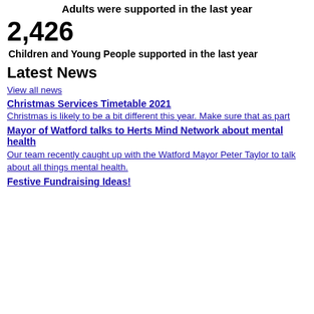Adults were supported in the last year
2,426
Children and Young People supported in the last year
Latest News
View all news
Christmas Services Timetable 2021
Christmas is likely to be a bit different this year. Make sure that as part
Mayor of Watford talks to Herts Mind Network about mental health
Our team recently caught up with the Watford Mayor Peter Taylor to talk about all things mental health.
Festive Fundraising Ideas!